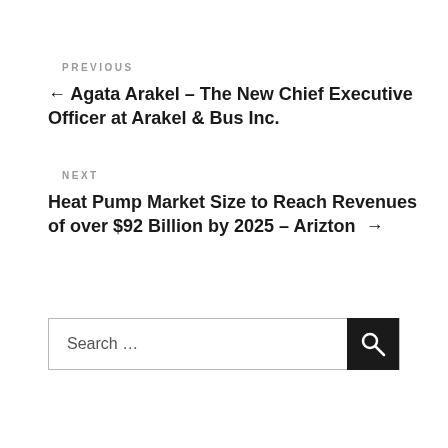PREVIOUS
← Agata Arakel – The New Chief Executive Officer at Arakel & Bus Inc.
NEXT
Heat Pump Market Size to Reach Revenues of over $92 Billion by 2025 – Arizton →
Search …